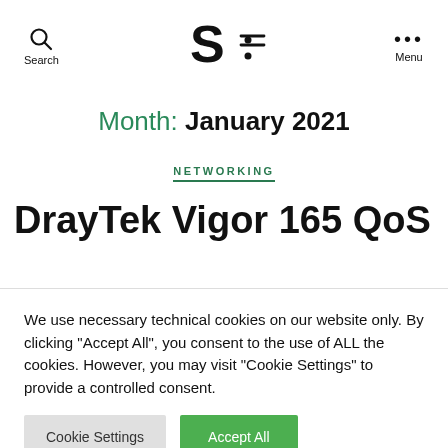Search | S:= Logo | Menu
Month: January 2021
NETWORKING
DrayTek Vigor 165 QoS
We use necessary technical cookies on our website only. By clicking "Accept All", you consent to the use of ALL the cookies. However, you may visit "Cookie Settings" to provide a controlled consent.